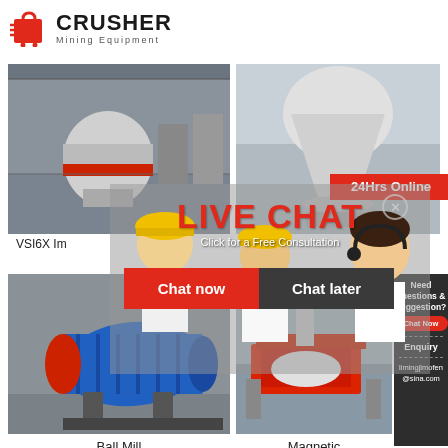[Figure (logo): Crusher Mining Equipment logo with red shopping bag icon and bold CRUSHER text]
[Figure (photo): Industrial grinding mill machine in a factory setting]
[Figure (photo): Cone crusher machine in a factory setting with 24Hrs Online badge]
[Figure (photo): Live chat overlay with woman in hard hat, LIVE CHAT text in red, and consultation CTA]
[Figure (photo): Ball Mill machine - large blue cylindrical mill]
[Figure (photo): Magnetic separator machine in red]
VSI6X Im
LIVE CHAT
Click for a Free Consultation
24Hrs Online
Chat now
Chat later
Need questions & suggestion?
Chat Now
Enquiry
limingjlmofen@sina.com
Ball Mill
Magnetic